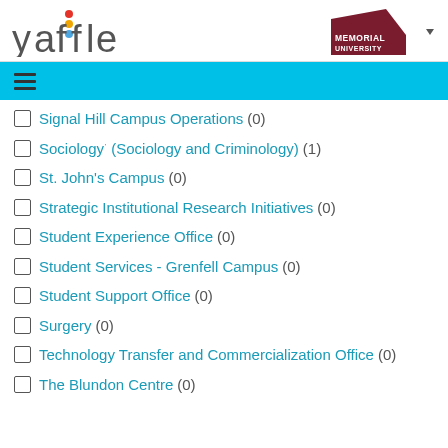[Figure (logo): Yaffle logo with colored dots above the letter i]
[Figure (logo): Memorial University logo with dark red mountain shape and text]
Signal Hill Campus Operations (0)
Sociology (Sociology and Criminology) (1)
St. John's Campus (0)
Strategic Institutional Research Initiatives (0)
Student Experience Office (0)
Student Services - Grenfell Campus (0)
Student Support Office (0)
Surgery (0)
Technology Transfer and Commercialization Office (0)
The Blundon Centre (0)